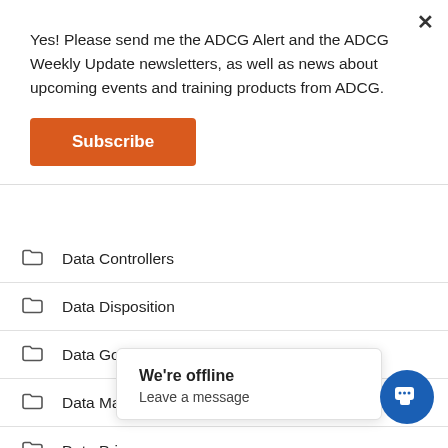Yes! Please send me the ADCG Alert and the ADCG Weekly Update newsletters, as well as news about upcoming events and training products from ADCG.
Subscribe
Data Controllers
Data Disposition
Data Governance
Data Mapping and Inventory
Data Privacy
Data Protection
Data Protection Agen…
Data Protection Auth…
Data Protection…
We're offline
Leave a message